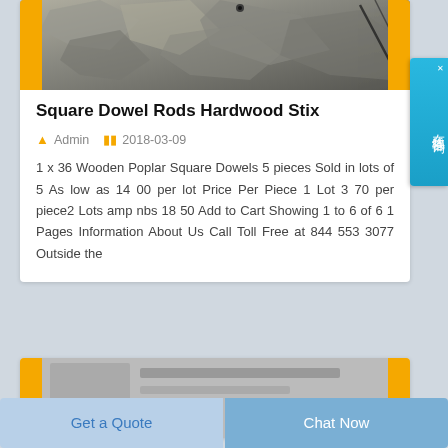[Figure (photo): Mining/drilling site with rocky debris and equipment, yellow side bars]
Square Dowel Rods Hardwood Stix
Admin  2018-03-09
1 x 36 Wooden Poplar Square Dowels 5 pieces Sold in lots of 5 As low as 14 00 per lot Price Per Piece 1 Lot 3 70 per piece2 Lots amp nbs 18 50 Add to Cart Showing 1 to 6 of 6 1 Pages Information About Us Call Toll Free at 844 553 3077 Outside the
[Figure (photo): Partial image of another article with yellow side bars]
Get a Quote
Chat Now